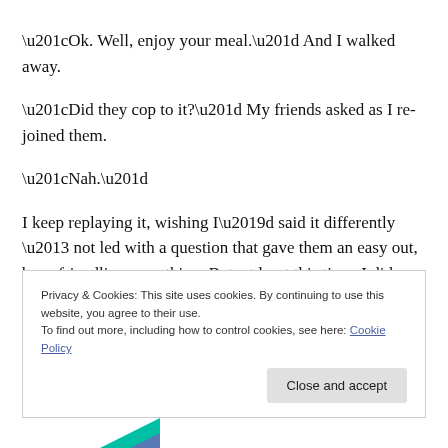“Ok. Well, enjoy your meal.” And I walked away.
“Did they cop to it?” My friends asked as I re-joined them.
“Nah.”
I keep replaying it, wishing I’d said it differently – not led with a question that gave them an easy out, been friendlier, something. But, at least this time, I did say something. And even if the mom didn’t respond well,
Privacy & Cookies: This site uses cookies. By continuing to use this website, you agree to their use.
To find out more, including how to control cookies, see here: Cookie Policy
Close and accept